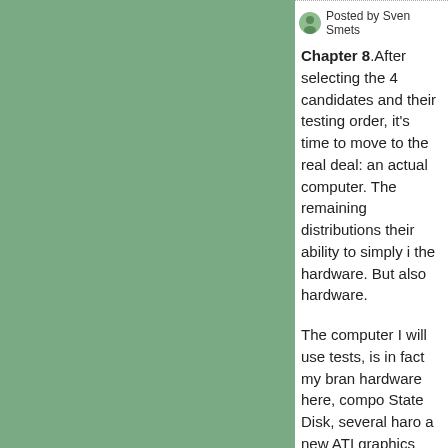[Figure (illustration): Green rectangle panel on the left side of the page]
Posted by Sven Smets
Chapter 8.After selecting the 4 candidates and their testing order, it's time to move to the real deal: an actual computer. The remaining distributions their ability to simply i the hardware. But also hardware.
The computer I will use tests, is in fact my bran hardware here, compo State Disk, several hare a new ATI graphics car motherboard and 2 net onboard, 1 plugin card